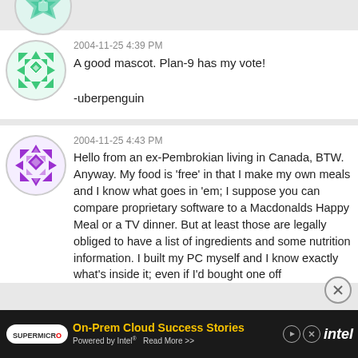[Figure (illustration): Partially visible circular avatar with teal/blue geometric pattern at the top of the page]
2004-11-25 4:39 PM
A good mascot. Plan-9 has my vote!
-uberpenguin
[Figure (illustration): Circular avatar with purple geometric snowflake/diamond pattern]
2004-11-25 4:43 PM
Hello from an ex-Pembrokian living in Canada, BTW. Anyway. My food is 'free' in that I make my own meals and I know what goes in 'em; I suppose you can compare proprietary software to a Macdonalds Happy Meal or a TV dinner. But at least those are legally obliged to have a list of ingredients and some nutrition information. I built my PC myself and I know exactly what's inside it; even if I'd bought one off the shelf I'd probably follow in the ingredients and some nutrition information.
[Figure (illustration): Advertisement banner: Supermicro logo, 'On-Prem Cloud Success Stories Powered by Intel Read More >>', Intel logo, close button]